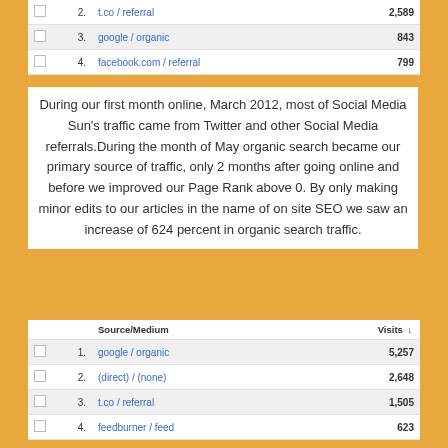|  |  | Source/Medium | Visits |
| --- | --- | --- | --- |
|  | 2. | t.co / referral | 2,589 |
|  | 3. | google / organic | 843 |
|  | 4. | facebook.com / referral | 799 |
During our first month online, March 2012, most of Social Media Sun's traffic came from Twitter and other Social Media referrals.During the month of May organic search became our primary source of traffic, only 2 months after going online and before we improved our Page Rank above 0. By only making minor edits to our articles in the name of on site SEO we saw an increase of 624 percent in organic search traffic.
|  |  | Source/Medium | Visits ↓ |
| --- | --- | --- | --- |
|  | 1. | google / organic | 5,257 |
|  | 2. | (direct) / (none) | 2,648 |
|  | 3. | t.co / referral | 1,505 |
|  | 4. | feedburner / feed | 623 |